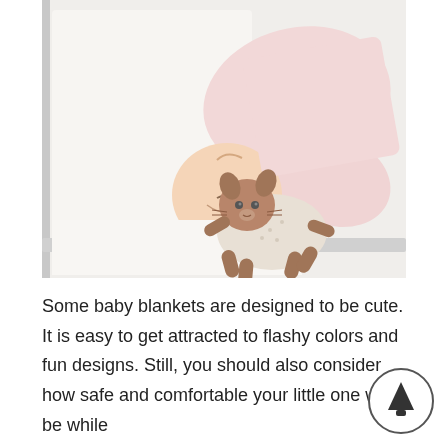[Figure (photo): Overhead view of a sleeping baby in a pink outfit lying on a white crib mattress next to a crocheted brown and white animal toy]
Some baby blankets are designed to be cute. It is easy to get attracted to flashy colors and fun designs. Still, you should also consider how safe and comfortable your little one will be while